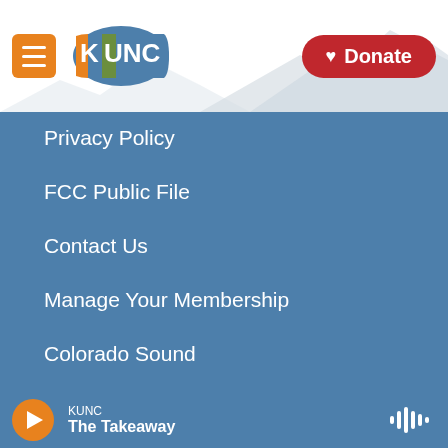[Figure (logo): KUNC radio station logo - hamburger menu button and KUNC circular colorful logo, plus Donate button]
Privacy Policy
FCC Public File
Contact Us
Manage Your Membership
Colorado Sound
[Figure (logo): NPR logo in white on black background]
KUNC
The Takeaway